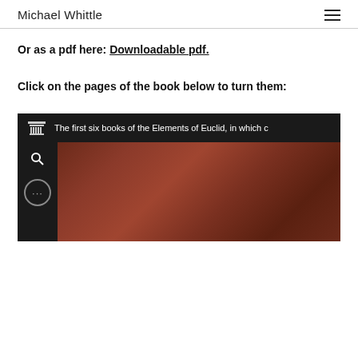Michael Whittle
Or as a pdf here: Downloadable pdf.
Click on the pages of the book below to turn them:
[Figure (screenshot): Screenshot of an Internet Archive viewer showing 'The first six books of the Elements of Euclid, in which c...' with a dark toolbar, search icon, menu button, and a blurred reddish-brown book cover image.]